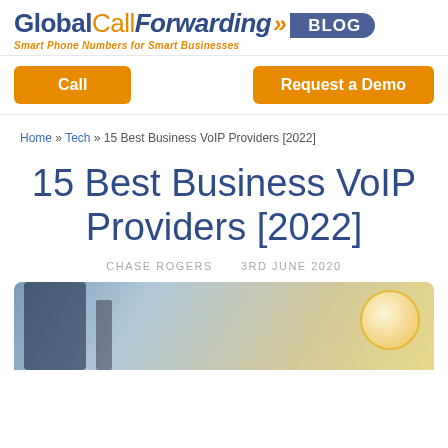[Figure (logo): GlobalCallForwarding Blog logo with orange arrows and dark blue blog pill badge, tagline: Smart Phone Numbers for Smart Businesses]
Call
Request a Demo
Home » Tech » 15 Best Business VoIP Providers [2022]
15 Best Business VoIP Providers [2022]
CHASE ROGERS    3RD JUNE 2020
[Figure (photo): Hero photo of a business VoIP/phone setup with dark monitor/screen on left and warm yellow-lit background, circular orange/gold element on right]